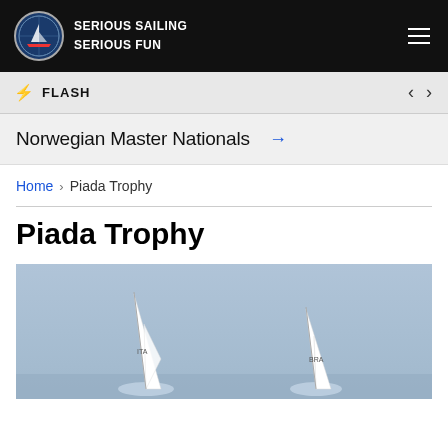SERIOUS SAILING SERIOUS FUN
FLASH
Norwegian Master Nationals →
Home › Piada Trophy
Piada Trophy
[Figure (photo): Sailing boats with white sails marked ITA and BRA racing on open water under a pale blue sky]